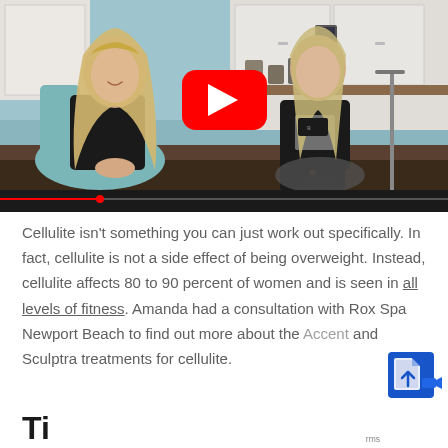[Figure (screenshot): YouTube video thumbnail showing two women sitting and talking in what appears to be a spa or medical office setting with white cabinets in the background. A red YouTube play button overlay is visible in the center.]
Cellulite isn't something you can just work out specifically. In fact, cellulite is not a side effect of being overweight. Instead, cellulite affects 80 to 90 percent of women and is seen in all levels of fitness. Amanda had a consultation with Rox Spa Newport Beach to find out more about the Accent and Sculptra treatments for cellulite.
Ti...